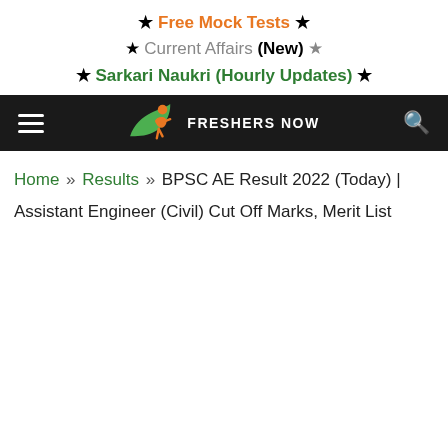★ Free Mock Tests ★
★ Current Affairs (New) ★
★ Sarkari Naukri (Hourly Updates) ★
[Figure (logo): Freshers Now logo with green leaf and orange person figure, white text FRESHERS NOW on dark navbar with hamburger menu and search icon]
Home » Results » BPSC AE Result 2022 (Today) | Assistant Engineer (Civil) Cut Off Marks, Merit List